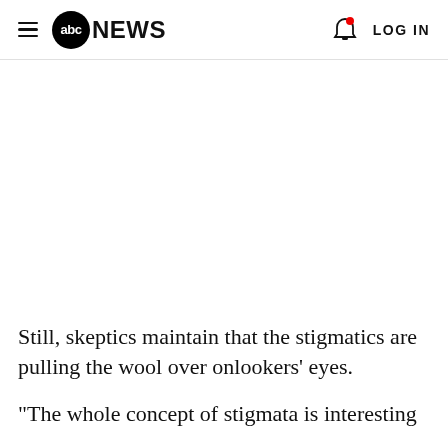abc NEWS | LOG IN
Still, skeptics maintain that the stigmatics are pulling the wool over onlookers' eyes.
"The whole concept of stigmata is interesting